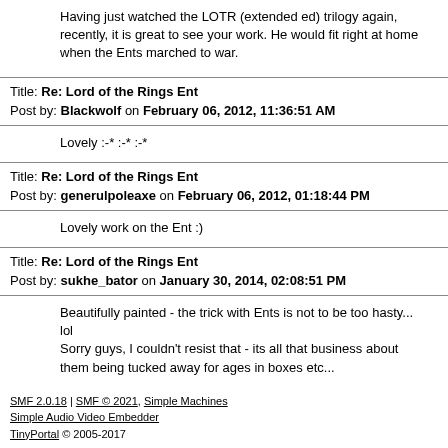Having just watched the LOTR (extended ed) trilogy again, recently, it is great to see your work. He would fit right at home when the Ents marched to war.
Title: Re: Lord of the Rings Ent
Post by: Blackwolf on February 06, 2012, 11:36:51 AM
Lovely :-* :-* :-*
Title: Re: Lord of the Rings Ent
Post by: generulpoleaxe on February 06, 2012, 01:18:44 PM
Lovely work on the Ent :)
Title: Re: Lord of the Rings Ent
Post by: sukhe_bator on January 30, 2014, 02:08:51 PM
Beautifully painted - the trick with Ents is not to be too hasty... lol
Sorry guys, I couldn't resist that - its all that business about them being tucked away for ages in boxes etc...
SMF 2.0.18 | SMF © 2021, Simple Machines
Simple Audio Video Embedder
TinyPortal © 2005-2017